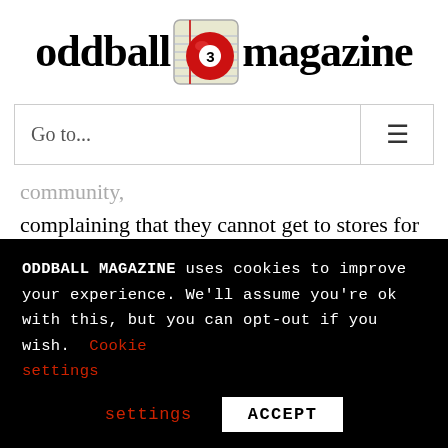[Figure (logo): Oddball Magazine logo with red 3-ball billiard icon embedded in the text between 'oddball' and 'magazine']
Go to...
complaining that they cannot get to stores for food as yet.
Xi'an is a city in China of over
ODDBALL MAGAZINE uses cookies to improve your experience. We'll assume you're ok with this, but you can opt-out if you wish. Cookie settings ACCEPT